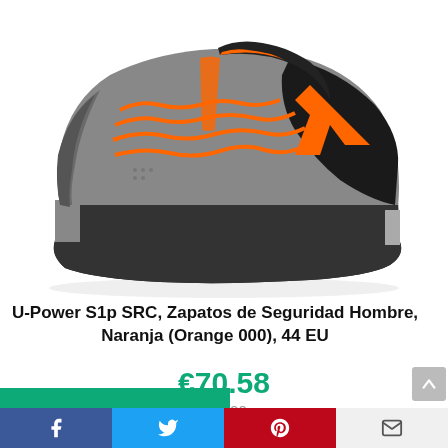[Figure (photo): Gray and orange safety shoe (U-Power S1p SRC) on white background, featuring orange laces and orange U-Power logo on the side]
U-Power S1p SRC, Zapatos de Seguridad Hombre, Naranja (Orange 000), 44 EU
€70.58
€74.90
in stock
12 new from €70.58
as of mayo 17, 2022 4:50 pm ℹ